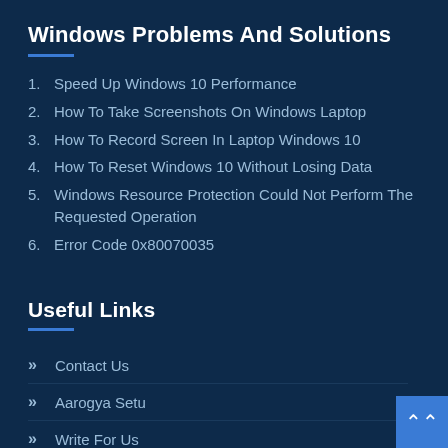Windows Problems And Solutions
1. Speed Up Windows 10 Performance
2. How To Take Screenshots On Windows Laptop
3. How To Record Screen In Laptop Windows 10
4. How To Reset Windows 10 Without Losing Data
5. Windows Resource Protection Could Not Perform The Requested Operation
6. Error Code 0x80070035
Useful Links
» Contact Us
» Aarogya Setu
» Write For Us